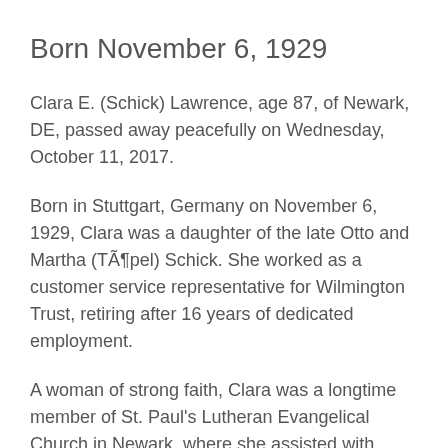Born November 6, 1929
Clara E. (Schick) Lawrence, age 87, of Newark, DE, passed away peacefully on Wednesday, October 11, 2017.
Born in Stuttgart, Germany on November 6, 1929, Clara was a daughter of the late Otto and Martha (TÃ¶pel) Schick. She worked as a customer service representative for Wilmington Trust, retiring after 16 years of dedicated employment.
A woman of strong faith, Clara was a longtime member of St. Paul’s Lutheran Evangelical Church in Newark, where she assisted with